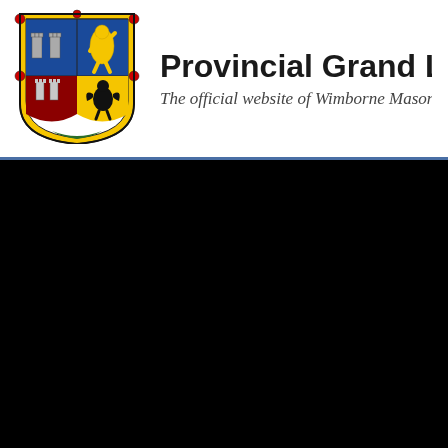[Figure (logo): Coat of arms shield with four quadrants: top-left has grey castle towers on blue background, top-right has yellow lion on blue background, bottom-left has red castle on yellow background, bottom-right has black eagle/lion on green background. Yellow border around shield with red decorative elements and a small green strip at the bottom.]
Provincial Grand Lodge of D
The official website of Wimborne Masoni
[Figure (other): Large black rectangle area taking up the bottom portion of the page, representing a dark/night photograph or black background area.]